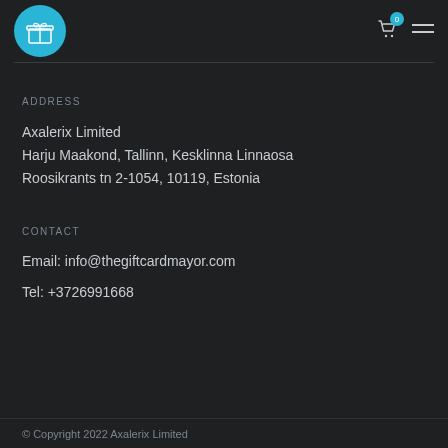Axalerix gift card shop logo with cart and menu icons
ADDRESS
Axalerix Limited
Harju Maakond, Tallinn, Kesklinna Linnaosa
Roosikrants tn 2-1054, 10119, Estonia
CONTACT
Email: info@thegiftcardmayor.com
Tel: +3726991668
© Copyright 2022 Axalerix Limited